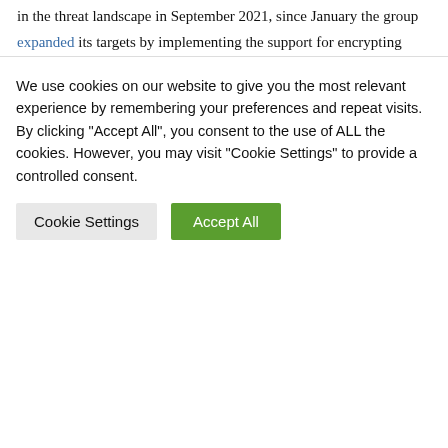in the threat landscape in September 2021, since January the group expanded its targets by implementing the support for encrypting Linux systems, specifically VMware ESXi servers.
AvosLocker operators already advertised in the past a Linux variant, dubbed AvosLinux, of their malware claiming it was able to support Linux and ESXi servers.
The AvosLocker ransomware appends the .avoslinux extension to the filenames of all the
We use cookies on our website to give you the most relevant experience by remembering your preferences and repeat visits. By clicking "Accept All", you consent to the use of ALL the cookies. However, you may visit "Cookie Settings" to provide a controlled consent.